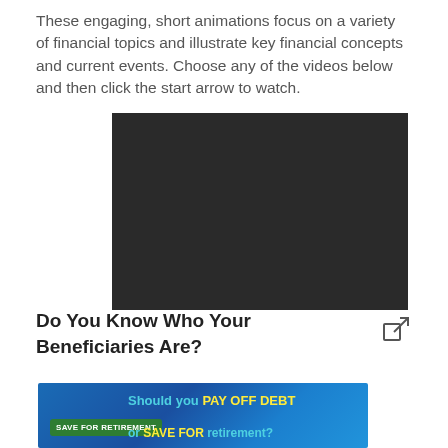These engaging, short animations focus on a variety of financial topics and illustrate key financial concepts and current events. Choose any of the videos below and then click the start arrow to watch.
[Figure (screenshot): Black video player rectangle representing an embedded video]
[Figure (other): External link icon (square with arrow)]
Do You Know Who Your Beneficiaries Are?
[Figure (screenshot): Thumbnail image with blue background showing a green 'SAVE FOR RETIREMENT' sign and text 'Should you PAY OFF DEBT or SAVE FOR retirement?']